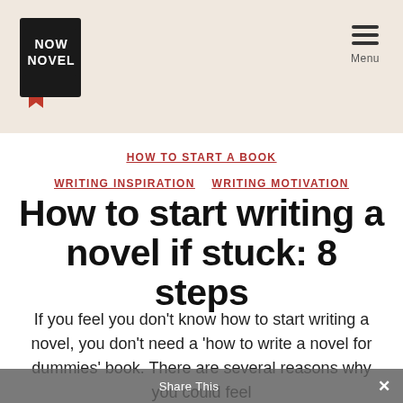[Figure (logo): Now Novel logo — black book icon with 'NOW NOVEL' text in white]
Menu
HOW TO START A BOOK  WRITING INSPIRATION  WRITING MOTIVATION
How to start writing a novel if stuck: 8 steps
If you feel you don't know how to start writing a novel, you don't need a 'how to write a novel for dummies' book. There are several reasons why you could feel
Share This